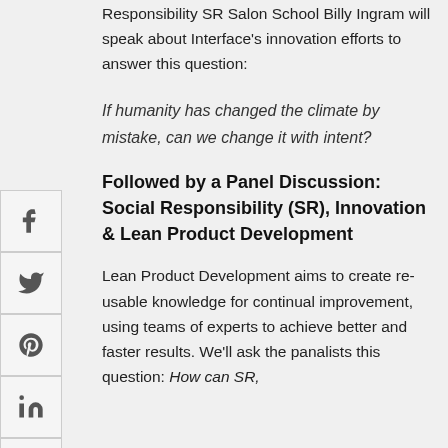Responsibility SR Salon School Billy Ingram will speak about Interface's innovation efforts to answer this question:
If humanity has changed the climate by mistake, can we change it with intent?
Followed by a Panel Discussion: Social Responsibility (SR), Innovation & Lean Product Development
Lean Product Development aims to create re-usable knowledge for continual improvement, using teams of experts to achieve better and faster results. We'll ask the panalists this question: How can SR,